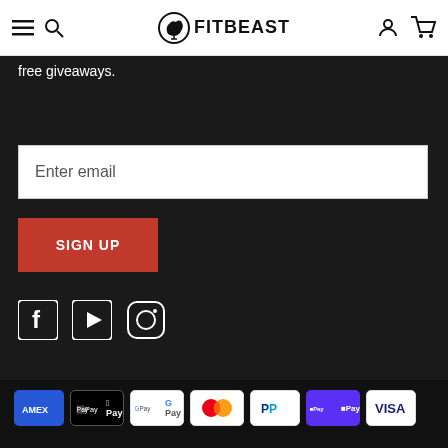FITBEAST — navigation bar with menu, search, account, cart icons
free giveaways.
[Figure (screenshot): Email input field with placeholder text 'Enter email']
[Figure (infographic): Red SIGN UP button]
[Figure (infographic): Social media icons: Facebook, YouTube, Instagram]
[Figure (infographic): Payment method icons: Amex, Apple Pay, Google Pay, Mastercard, PayPal, Shop Pay, Visa]